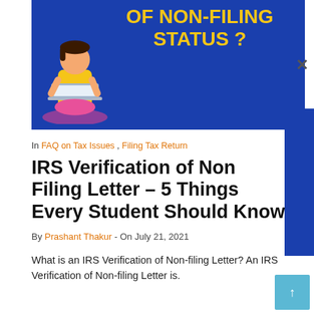[Figure (illustration): Banner with dark blue background, yellow bold text reading 'OF NON-FILING STATUS ?' and an illustrated person sitting with a laptop on the left side.]
In FAQ on Tax Issues , Filing Tax Return
IRS Verification of Non Filing Letter – 5 Things Every Student Should Know
By Prashant Thakur - On July 21, 2021
What is an IRS Verification of Non-filing Letter? An IRS Verification of Non-filing Letter is.